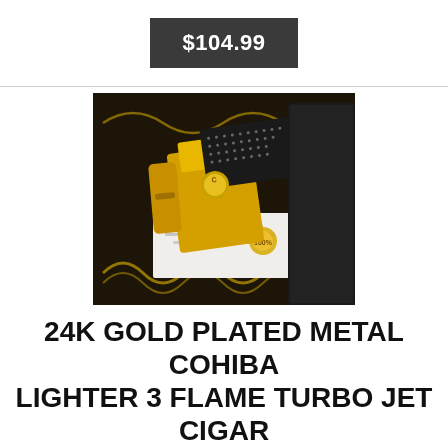$104.99
[Figure (photo): 24K gold plated Cohiba lighter with black and gold dotted pattern, shown with a cigar cutter on a decorative gift box wrap and a black gift box in background]
24K GOLD PLATED METAL COHIBA LIGHTER 3 FLAME TURBO JET CIGAR PUNCH GAS GIFT BOX
24 Ct Gold Layered Cohiba Jet Lighter. For Sale Is A24 Ct Goldlayered Cohiba Jet